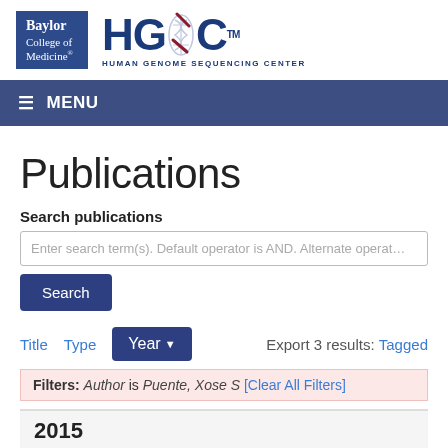[Figure (logo): Baylor College of Medicine and HGSC (Human Genome Sequencing Center) logos side by side]
MENU
Publications
Search publications
Enter search term(s). Default operator is AND. Alternate operate
Search
Title   Type   Year   Export 3 results: Tagged
Filters: Author is Puente, Xose S [Clear All Filters]
2015